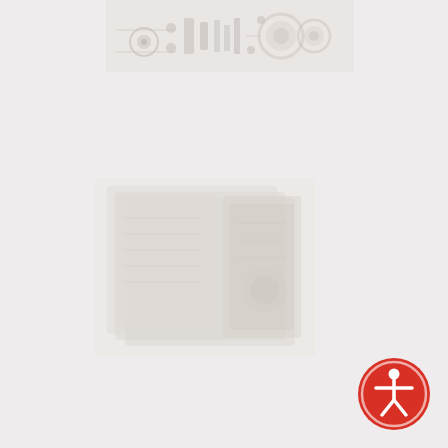[Figure (photo): Faded/washed-out grayscale image of mechanical or electronic equipment (circuit board or control panel with dials and components) at the top of the page.]
[Figure (photo): Faded/washed-out grayscale image of what appears to be stacked documents or cards, occupying the middle-lower portion of the page.]
[Figure (logo): Red circular accessibility icon (wheelchair/person icon) in the bottom-right corner — accessibility widget button.]